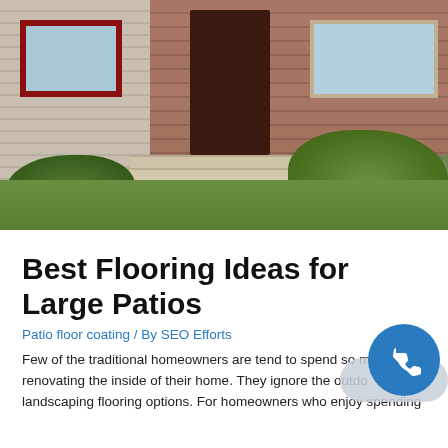[Figure (photo): Exterior photo of a residential home showing brick facade, dark wood front door, concrete steps, a stone pathway, green shrubbery, and siding on the left side.]
Best Flooring Ideas for Large Patios
Patio floor coating / By SEO Efforts
Few of the traditional homeowners are tend to spend so much renovating the inside of their home. They ignore the outdoor landscaping flooring options. For homeowners who enjoy spending